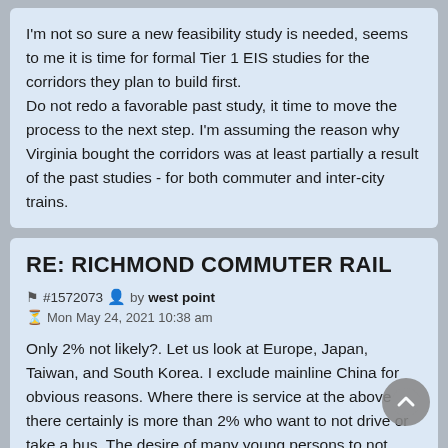I'm not so sure a new feasibility study is needed, seems to me it is time for formal Tier 1 EIS studies for the corridors they plan to build first. Do not redo a favorable past study, it time to move the process to the next step. I'm assuming the reason why Virginia bought the corridors was at least partially a result of the past studies - for both commuter and inter-city trains.
RE: RICHMOND COMMUTER RAIL
#1572073 by west point
Mon May 24, 2021 10:38 am
Only 2% not likely?. Let us look at Europe, Japan, Taiwan, and South Korea. I exclude mainline China for obvious reasons. Where there is service at the above there certainly is more than 2% who want to not drive or take a bus. The desire of many young persons to not even get a driver' license will be the